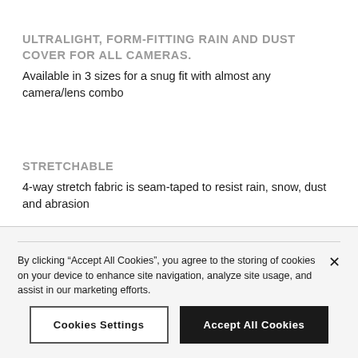ULTRALIGHT, FORM-FITTING RAIN AND DUST COVER FOR ALL CAMERAS.
Available in 3 sizes for a snug fit with almost any camera/lens combo
STRETCHABLE
4-way stretch fabric is seam-taped to resist rain, snow, dust and abrasion
By clicking “Accept All Cookies”, you agree to the storing of cookies on your device to enhance site navigation, analyze site usage, and assist in our marketing efforts.